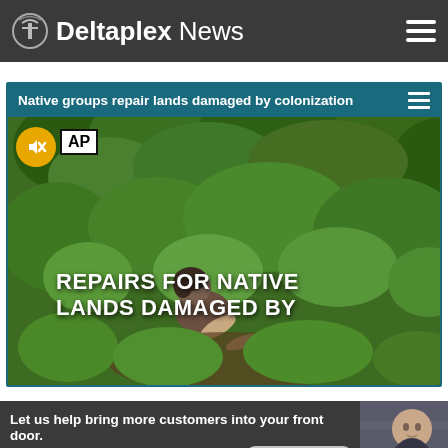Deltaplex News
Native groups repair lands damaged by colonization
[Figure (photo): Person working in dense green vegetation, with AP logo badge and mute button overlay. Text overlay reads: REPAIRS FOR NATIVE LANDS DAMAGED BY]
Let us help bring more customers into your front door. Combining on-air and online resources could be the perfect business investment. Click to learn more.